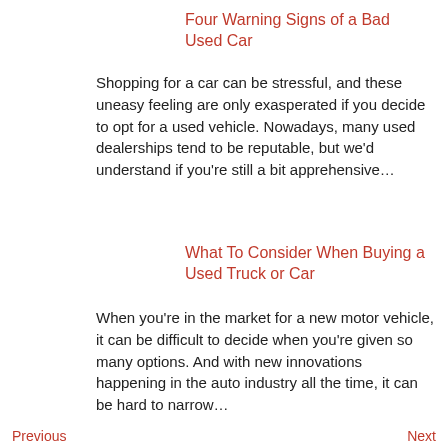Four Warning Signs of a Bad Used Car
Shopping for a car can be stressful, and these uneasy feeling are only exasperated if you decide to opt for a used vehicle. Nowadays, many used dealerships tend to be reputable, but we'd understand if you're still a bit apprehensive…
What To Consider When Buying a Used Truck or Car
When you're in the market for a new motor vehicle, it can be difficult to decide when you're given so many options. And with new innovations happening in the auto industry all the time, it can be hard to narrow…
Previous   Next